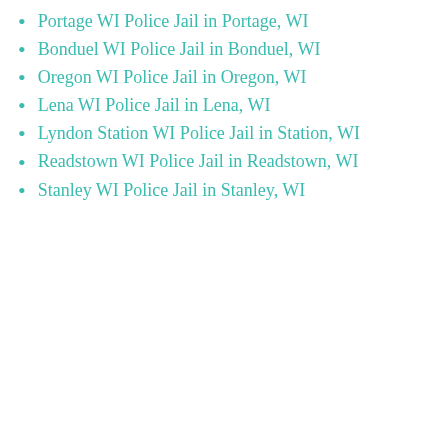Portage WI Police Jail in Portage, WI
Bonduel WI Police Jail in Bonduel, WI
Oregon WI Police Jail in Oregon, WI
Lena WI Police Jail in Lena, WI
Lyndon Station WI Police Jail in Station, WI
Readstown WI Police Jail in Readstown, WI
Stanley WI Police Jail in Stanley, WI